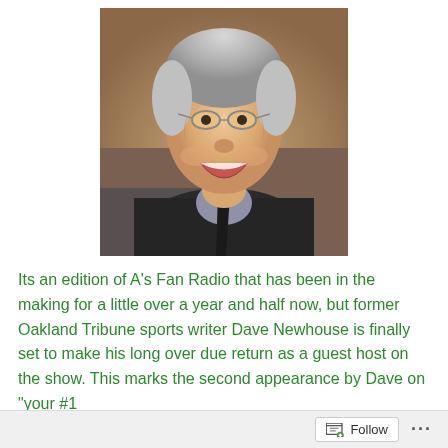[Figure (photo): Portrait photo of an elderly man with gray hair and glasses, laughing and smiling, wearing a dark suit jacket and dark tie, photographed at an indoor event]
Its an edition of A's Fan Radio that has been in the making for a little over a year and half now, but former Oakland Tribune sports writer Dave Newhouse is finally set to make his long over due return as a guest host on the show. This marks the second appearance by Dave on "your #1
Follow ...